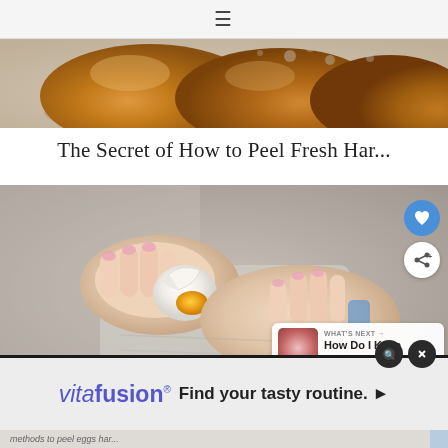≡
[Figure (photo): Top portion showing bread/potatoes in a bowl, decorative food photo header]
The Secret of How to Peel Fresh Har...
[Figure (photo): Hands peeling a hard boiled egg, showing white egg with yolk visible and shell being peeled off, person wearing grey sweater]
WHAT'S NEXT → How Do I Keep my Chicken...
[Figure (screenshot): vitafusion ad: Find your tasty routine. ▶]
methods to peel eggs har...